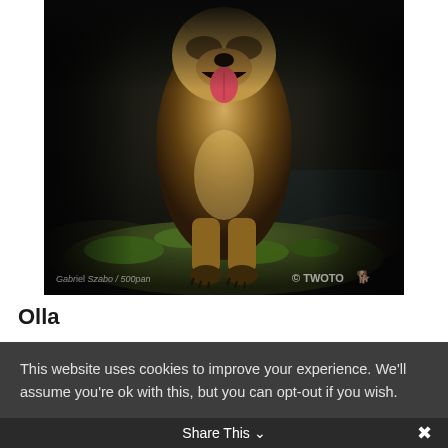[Figure (photo): A German Shepherd dog standing on a moss-covered rock with mouth open and tongue out, in a natural forest/stream setting. Watermarks read 'Gabr(i)el Szabo / 500px' and '© TWOTO' with a small dog logo.]
Olla
This website uses cookies to improve your experience. We'll assume you're ok with this, but you can opt-out if you wish.
Accept   Read More
Share This ∨